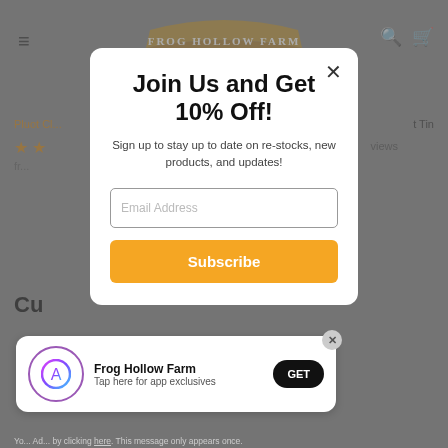[Figure (screenshot): Frog Hollow Farm website background with navigation header, logo, product breadcrumb showing 'Pluot C...' and 't Tin', star ratings, and partial 'Cu' heading, all dimmed behind modal overlay]
Join Us and Get 10% Off!
Sign up to stay up to date on re-stocks, new products, and updates!
Email Address
Subscribe
[Figure (infographic): App install banner showing Frog Hollow Farm app icon (circular with stylized A logo), app name 'Frog Hollow Farm', tagline 'Tap here for app exclusives', and a black 'GET' button]
Frog Hollow Farm
Tap here for app exclusives
GET
Yo... Ad... by clicking here. This message only appears once.